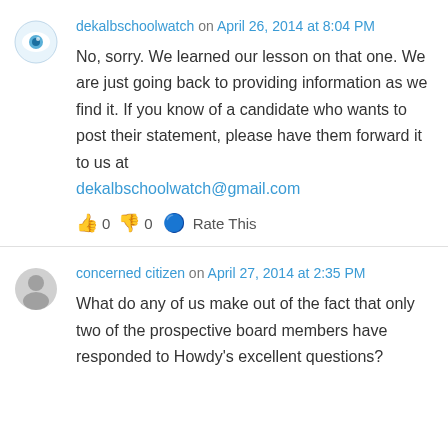dekalbschoolwatch on April 26, 2014 at 8:04 PM
No, sorry. We learned our lesson on that one. We are just going back to providing information as we find it. If you know of a candidate who wants to post their statement, please have them forward it to us at dekalbschoolwatch@gmail.com
👍 0 👎 0 🔵 Rate This
concerned citizen on April 27, 2014 at 2:35 PM
What do any of us make out of the fact that only two of the prospective board members have responded to Howdy's excellent questions?